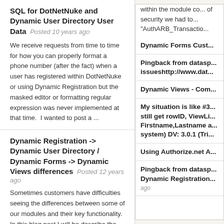SQL for DotNetNuke and Dynamic User Directory User Data Posted 10 years ago
We receive requests from time to time for how you can properly format a phone number (after the fact) when a user has registered within DotNetNuke or using Dynamic Registration but the masked editor or formatting regular expression was never implemented at that time.  I wanted to post a ...
Dynamic Registration -> Dynamic User Directory / Dynamic Forms -> Dynamic Views differences Posted 12 years ago
Sometimes customers have difficulties seeing the differences between some of our modules and their key functionality. In this blog post I will be describe the differences amongst Dynamic Forms and Dynamic Registration, along with the
within the module co... of security we had to... "AuthARB_Transactio...
Dynamic Forms Cust...
Pingback from datasp... issueshttp://www.dat...
Dynamic Views - Com...
My situation is like #3... still get rowID, ViewLi... Firstname,Lastname a... system) DV: 3.0.1 (Tri...
Using Authorize.net A...
Pingback from datasp... Dynamic Registration...
ago